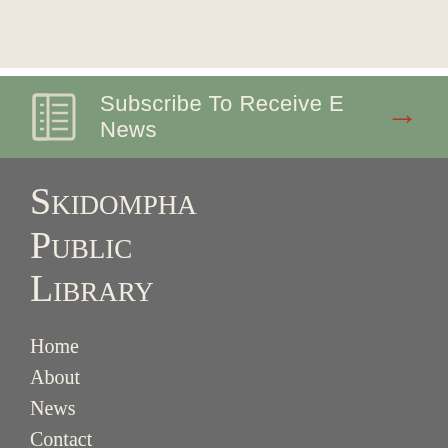[Figure (infographic): Green banner with newspaper icon, text 'Subscribe To Receive E News', and a red right arrow]
Skidompha Public Library
Home
About
News
Contact
eLibrary Resources
Genealogy
Support
Policies
Sitemap